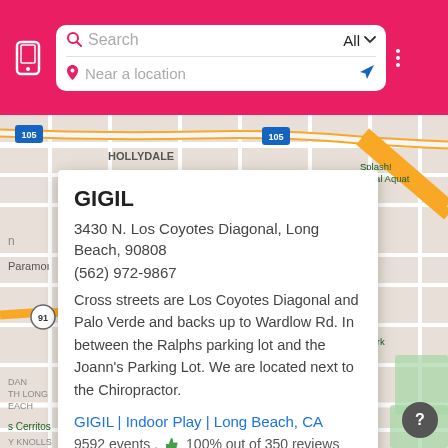[Figure (screenshot): Mobile app header with pink/crimson background containing a phone icon on the left, a search box with 'Search' field and 'All' dropdown, and a 'Near a location' field with navigation arrow, plus a three-dot menu on the right.]
[Figure (map): Google Maps screenshot showing the Los Angeles/Long Beach area with highways 105 and 91, neighborhoods including Hollydale, Paramount, DAN TH LONG EACH (South Long Beach), Cerritos, Y Knolls. Visible landmarks: Splash! Regional Aquatic, Knott's area. A white popup card overlays the map showing business info for GIGIL.]
GIGIL
3430 N. Los Coyotes Diagonal, Long Beach, 90808
(562) 972-9867
Cross streets are Los Coyotes Diagonal and Palo Verde and backs up to Wardlow Rd. In between the Ralphs parking lot and the Joann's Parking List. We are located next to the Chiropractor.
GIGIL | Indoor Play | Long Beach, CA
9592 events . 👍 100% out of 350 reviews